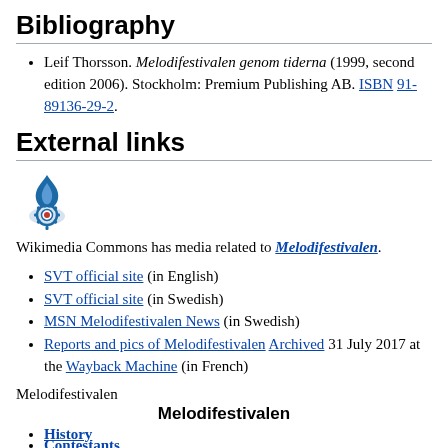Bibliography
Leif Thorsson. Melodifestivalen genom tiderna (1999, second edition 2006). Stockholm: Premium Publishing AB. ISBN 91-89136-29-2.
External links
[Figure (logo): Wikimedia Commons logo — a blue stylized flame with a red and white gear/wheel at the base]
Wikimedia Commons has media related to Melodifestivalen.
SVT official site (in English)
SVT official site (in Swedish)
MSN Melodifestivalen News (in Swedish)
Reports and pics of Melodifestivalen Archived 31 July 2017 at the Wayback Machine (in French)
Melodifestivalen
Melodifestivalen
History
Contestants
Presenters